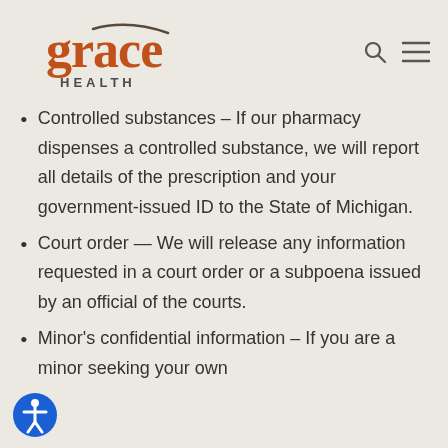Grace Health
Controlled substances – If our pharmacy dispenses a controlled substance, we will report all details of the prescription and your government-issued ID to the State of Michigan.
Court order — We will release any information requested in a court order or a subpoena issued by an official of the courts.
Minor's confidential information – If you are a minor seeking your own